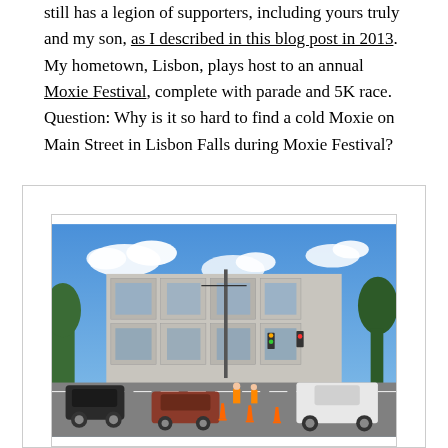still has a legion of supporters, including yours truly and my son, as I described in this blog post in 2013. My hometown, Lisbon, plays host to an annual Moxie Festival, complete with parade and 5K race. Question: Why is it so hard to find a cold Moxie on Main Street in Lisbon Falls during Moxie Festival?
[Figure (photo): Street-level photograph of a large grey industrial multi-story warehouse building on a sunny day with blue sky and clouds. Cars and orange traffic cones are visible in the foreground street. Trees visible on the left and right edges.]